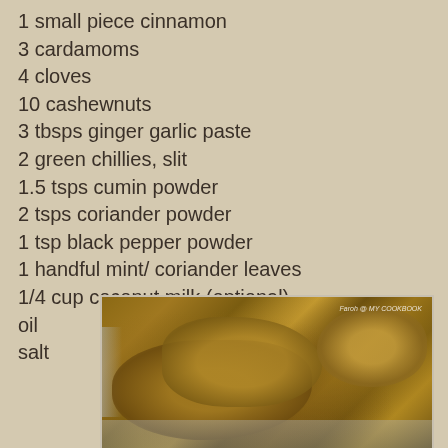1 small piece cinnamon
3 cardamoms
4 cloves
10 cashewnuts
3 tbsps ginger garlic paste
2 green chillies, slit
1.5 tsps cumin powder
2 tsps coriander powder
1 tsp black pepper powder
1 handful mint/ coriander leaves
1/4 cup coconut milk (optional)
oil
salt
[Figure (photo): Photo of cooked chicken dish with spiced gravy on a plate, with watermark text 'Faroh @ MY COOKBOOK']